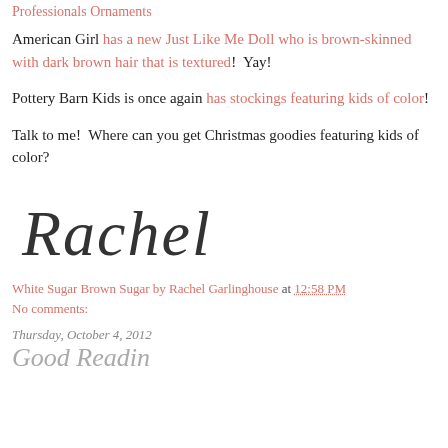Professionals Ornaments
American Girl has a new Just Like Me Doll who is brown-skinned with dark brown hair that is textured!  Yay!
Pottery Barn Kids is once again has stockings featuring kids of color!
Talk to me!  Where can you get Christmas goodies featuring kids of color?
[Figure (illustration): Cursive signature reading 'Rachel' in dark handwritten script]
White Sugar Brown Sugar by Rachel Garlinghouse at 12:58 PM
No comments:
Thursday, October 4, 2012
Good Readin